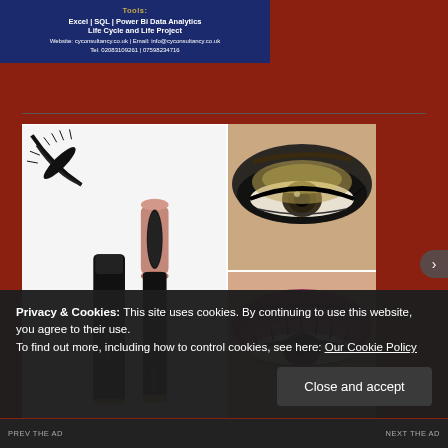Tools:
Excel | SQL | Power Bi Data Analytics
Life Cycle and Life Project
Website: cyconsultancy.co.uk | Email: info@cyconsultancy.co.uk
Tel. 02083109261 | 07598234716
[Figure (photo): Product photo of JB JOEBOL mascara tubes (two mascara products shown with applicator brush) alongside two close-up eye photos showing dramatic eye makeup looks]
Privacy & Cookies: This site uses cookies. By continuing to use this website, you agree to their use.
To find out more, including how to control cookies, see here: Our Cookie Policy
Close and accept
NEXT THE AD